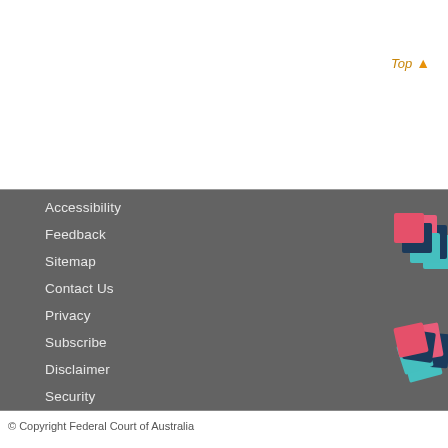Top ↑
Accessibility
Feedback
Sitemap
Contact Us
Privacy
Subscribe
Disclaimer
Security
[Figure (logo): Information Publication Scheme logo with overlapping colored squares (pink, dark navy, teal)]
Information Publication Scheme
[Figure (logo): Public Interest Disclosure Scheme badge with red PID circle and blue speech bubble]
[Figure (logo): FOI Disclosure Log logo with overlapping colored squares (pink, dark navy, teal)]
FOI Disclosure Log
© Copyright Federal Court of Australia